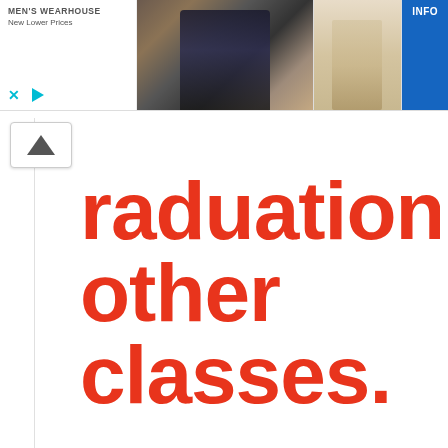[Figure (screenshot): Men's Wearhouse advertisement banner with logo text 'MEN'S WEARHOUSE New Lower Prices', a photo of a couple in formal wear, a person in a tan suit, and a blue INFO button. Ad controls (X and play icons) visible at bottom left.]
raduation and other classes.